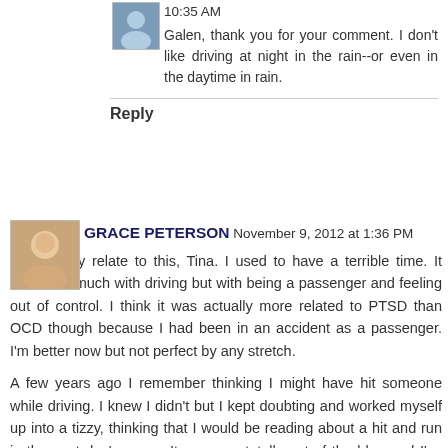10:35 AM
Galen, thank you for your comment. I don't like driving at night in the rain--or even in the daytime in rain.
Reply
GRACE PETERSON November 9, 2012 at 1:36 PM
I can really relate to this, Tina. I used to have a terrible time. It wasn't so much with driving but with being a passenger and feeling out of control. I think it was actually more related to PTSD than OCD though because I had been in an accident as a passenger. I'm better now but not perfect by any stretch.
A few years ago I remember thinking I might have hit someone while driving. I knew I didn't but I kept doubting and worked myself up into a tizzy, thinking that I would be reading about a hit and run in the next day's paper. It came so totally out of the blue and I've never had a situation like